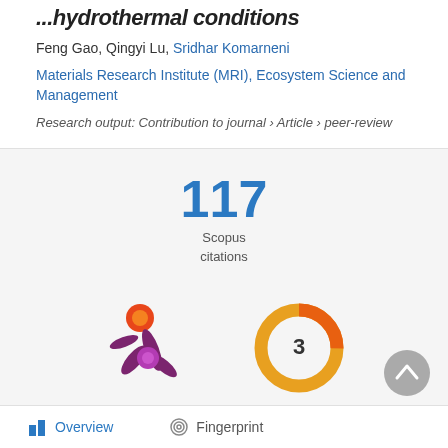...hydrothermal conditions
Feng Gao, Qingyi Lu, Sridhar Komarneni
Materials Research Institute (MRI), Ecosystem Science and Management
Research output: Contribution to journal › Article › peer-review
[Figure (infographic): 117 Scopus citations count displayed in large blue text with label underneath]
[Figure (infographic): Altmetric starburst logo (purple/orange/magenta) on the left and an orange donut chart showing '3' on the right]
Overview   Fingerprint